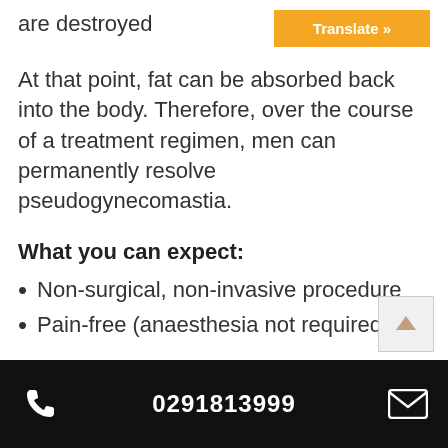are destroyed
At that point, fat can be absorbed back into the body. Therefore, over the course of a treatment regimen, men can permanently resolve pseudogynecomastia.
What you can expect:
Non-surgical, non-invasive procedure
Pain-free (anaesthesia not required)
0291813999